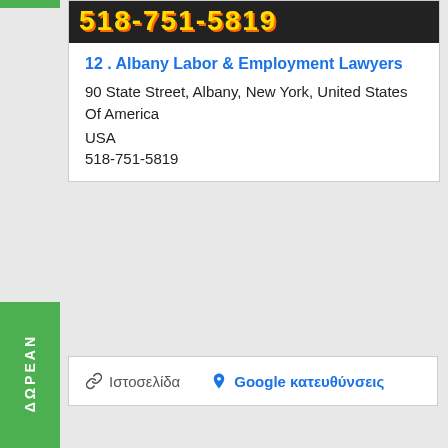[Figure (other): Phone number banner with yellow text on dark background: 518-751-5819]
12. Albany Labor & Employment Lawyers
90 State Street, Albany, New York, United States Of America
USA
518-751-5819
Ιστοσελίδα   Google κατευθύνσεις
ΔΩΡΕΑΝ